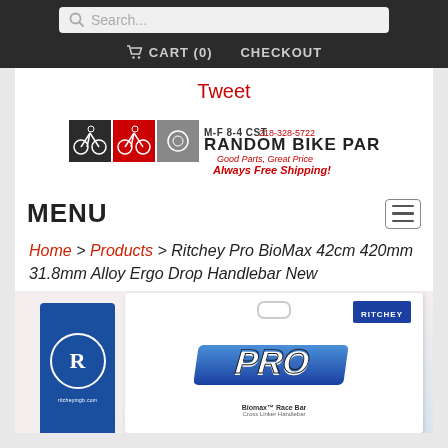Search... | CART (0) | CHECKOUT
Tweet
[Figure (logo): Random Bike Parts logo with cycling icons, phone number, tagline 'Good Parts, Great Price. Always Free Shipping!']
MENU
Home > Products > Ritchey Pro BioMax 42cm 420mm 31.8mm Alloy Ergo Drop Handlebar New
[Figure (photo): Product photo of Ritchey Pro BioMax handlebar in retail packaging, showing blue Ritchey branded bag and white packaging card with PRO logo and Biomax Race Bar / Cross Linker Handlebar text]